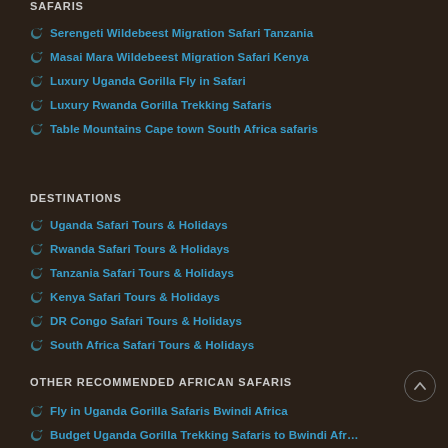SAFARIS
Serengeti Wildebeest Migration Safari Tanzania
Masai Mara Wildebeest Migration Safari Kenya
Luxury Uganda Gorilla Fly in Safari
Luxury Rwanda Gorilla Trekking Safaris
Table Mountains Cape town South Africa safaris
DESTINATIONS
Uganda Safari Tours & Holidays
Rwanda Safari Tours & Holidays
Tanzania Safari Tours & Holidays
Kenya Safari Tours & Holidays
DR Congo Safari Tours & Holidays
South Africa Safari Tours & Holidays
OTHER RECOMMENDED AFRICAN SAFARIS
Fly in Uganda Gorilla Safaris Bwindi Africa
Budget Uganda Gorilla Trekking Safaris to Bwindi Africa